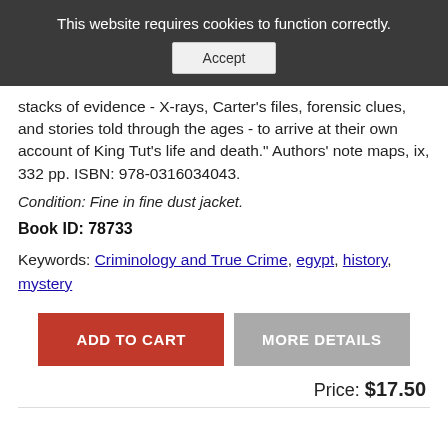This website requires cookies to function correctly. Accept
stacks of evidence - X-rays, Carter's files, forensic clues, and stories told through the ages - to arrive at their own account of King Tut's life and death." Authors' note maps, ix, 332 pp. ISBN: 978-0316034043.
Condition: Fine in fine dust jacket.
Book ID: 78733
Keywords: Criminology and True Crime, egypt, history, mystery